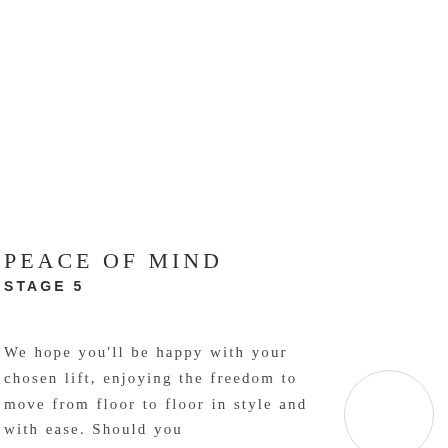PEACE OF MIND
STAGE 5
We hope you'll be happy with your chosen lift, enjoying the freedom to move from floor to floor in style and with ease. Should you encounter a problem, your lift is